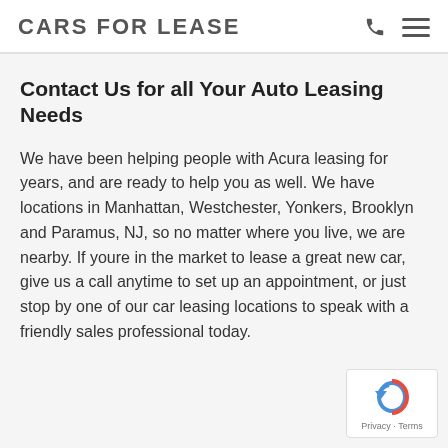CARS FOR LEASE
Contact Us for all Your Auto Leasing Needs
We have been helping people with Acura leasing for years, and are ready to help you as well. We have locations in Manhattan, Westchester, Yonkers, Brooklyn and Paramus, NJ, so no matter where you live, we are nearby. If youre in the market to lease a great new car, give us a call anytime to set up an appointment, or just stop by one of our car leasing locations to speak with a friendly sales professional today.